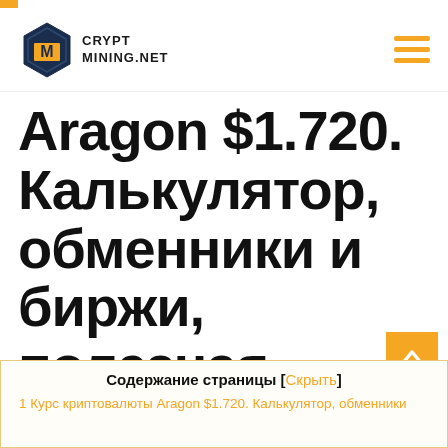CRYPTMINING.NET
Aragon $1.720. Калькулятор, обменники и биржи, полезная информация, графики.
Содержание страницы [Скрыть]
1 Курс криптовалюты Aragon $1.720. Калькулятор, обменники